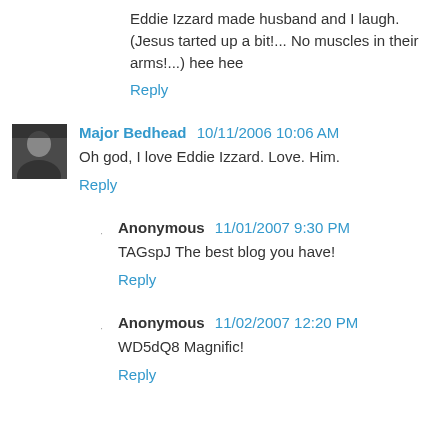Eddie Izzard made husband and I laugh. (Jesus tarted up a bit!... No muscles in their arms!...) hee hee
Reply
Major Bedhead  10/11/2006 10:06 AM
Oh god, I love Eddie Izzard. Love. Him.
Reply
Anonymous  11/01/2007 9:30 PM
TAGspJ The best blog you have!
Reply
Anonymous  11/02/2007 12:20 PM
WD5dQ8 Magnific!
Reply